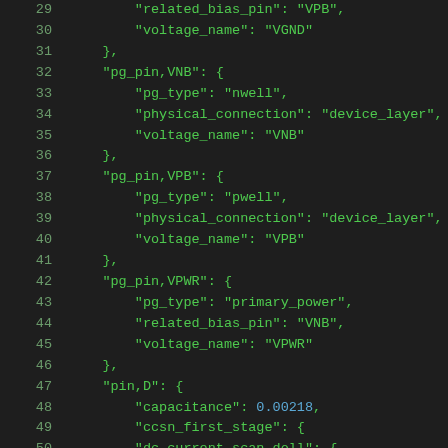29    "related_bias_pin": "VPB",
30    "voltage_name": "VGND"
31  },
32  "pg_pin,VNB": {
33    "pg_type": "nwell",
34    "physical_connection": "device_layer",
35    "voltage_name": "VNB"
36  },
37  "pg_pin,VPB": {
38    "pg_type": "pwell",
39    "physical_connection": "device_layer",
40    "voltage_name": "VPB"
41  },
42  "pg_pin,VPWR": {
43    "pg_type": "primary_power",
44    "related_bias_pin": "VNB",
45    "voltage_name": "VPWR"
46  },
47  "pin,D": {
48    "capacitance": 0.00218,
49    "ccsn_first_stage": {
50    "dc_current_scan_doll": {